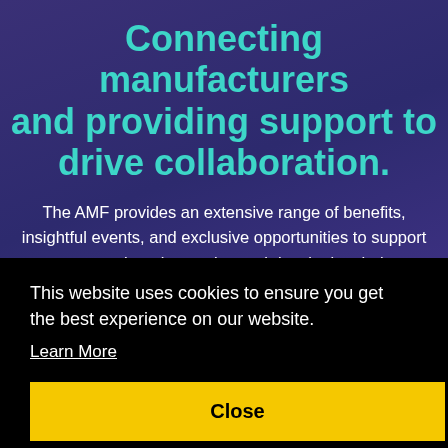Connecting manufacturers and providing support to drive collaboration.
The AMF provides an extensive range of benefits, insightful events, and exclusive opportunities to support our members in growing and developing their businesses.
This website uses cookies to ensure you get the best experience on our website.
Learn More
Close
Our events provide expert insights,